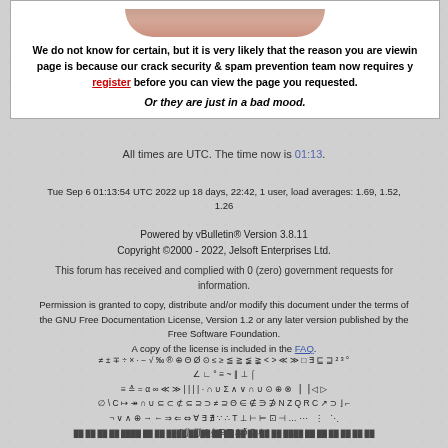[Figure (illustration): Partial face/head image at top of white box]
We do not know for certain, but it is very likely that the reason you are viewing this page is because our crack security & spam prevention team now requires you to register before you can view the page you requested.
Or they are just in a bad mood.
All times are UTC. The time now is 01:13.
Tue Sep 6 01:13:54 UTC 2022 up 18 days, 22:42, 1 user, load averages: 1.69, 1.52, 1.26
Powered by vBulletin® Version 3.8.11
Copyright ©2000 - 2022, Jelsoft Enterprises Ltd.
This forum has received and complied with 0 (zero) government requests for information.
Permission is granted to copy, distribute and/or modify this document under the terms of the GNU Free Documentation License, Version 1.2 or any later version published by the Free Software Foundation.
A copy of the license is included in the FAQ.
≠ ± ∓ ÷ × · − √ ‰ ® ⊕ Θ Ø ⊙ ≤ ≥ ≦ ≧ ≨ ≩ < > ≪ ≫ □ ∃ ⊑ ⊒ ² ³ °
∠ ∟ ° ≡ ~ ∥ ⊥ ⌠
≡ ≙ = α ∞ ≪ ≫ | | | | · ∩ ∪ Σ ∧ ∨ ∩ ∪ ⊙ ⊕ ⊗ ▕ ▕ ◁ ▷
∅ \ C ↦ ↠ ∩ ∪ ⊆ ⊂ ⊄ ⊆ ⊇ ⊃ ≠ ⊇ Θ ∈ ∉ ∋ ∌ N Z Q R C ↗ ⊃ ⌋ ⌐
¬ ∨ ∧ ⊕ → ← ⇒ ⇐ ⇔ ∀ ∃ ∄ ∵ ∴ T ⊥ ⊢ ⊨ ⊡ ⊣ … ⋯  ⋮  ⋱
∫ ∬ ∭ ƒ ∮ ⊞ ∇ Δ δ ℑ ℒ ℓ